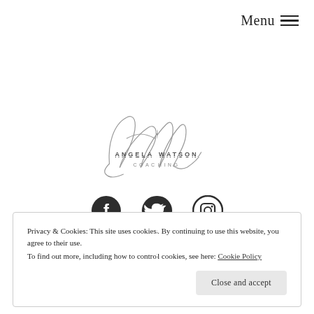Menu ☰
[Figure (logo): Angela Watson Coaching logo with cursive signature and text ANGELA WATSON COACHING]
[Figure (other): Social media icons: Facebook, Twitter, Instagram]
Privacy & Cookies: This site uses cookies. By continuing to use this website, you agree to their use.
To find out more, including how to control cookies, see here: Cookie Policy
Close and accept